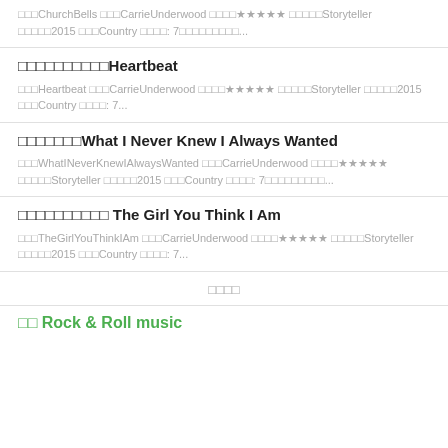□□□ChurchBells □□□CarrieUnderwood □□□□★★★★★ □□□□□Storyteller □□□□□2015 □□□Country □□□□: 7□□□□□□□□□...
□□□□□□□□□□Heartbeat
□□□Heartbeat □□□CarrieUnderwood □□□□★★★★★ □□□□□Storyteller □□□□□2015 □□□Country □□□□: 7...
□□□□□□□What I Never Knew I Always Wanted
□□□WhatINeverKnewIAlwaysWanted □□□CarrieUnderwood □□□□★★★★★ □□□□□Storyteller □□□□□2015 □□□Country □□□□: 7□□□□□□□□□...
□□□□□□□□□□ The Girl You Think I Am
□□□TheGirlYouThinkIAm □□□CarrieUnderwood □□□□★★★★★ □□□□□Storyteller □□□□□2015 □□□Country □□□□: 7...
□□□□
□□ Rock &amp; Roll music